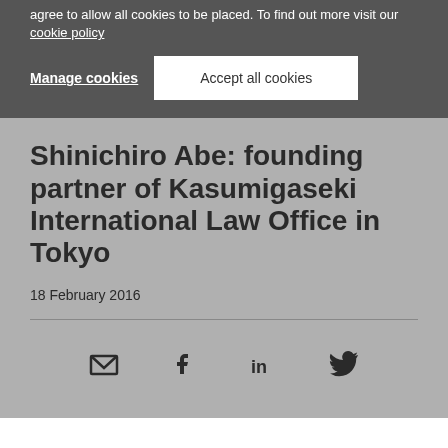agree to allow all cookies to be placed. To find out more visit our cookie policy
Manage cookies
Accept all cookies
Shinichiro Abe: founding partner of Kasumigaseki International Law Office in Tokyo
18 February 2016
[Figure (other): Social sharing icons: email, Facebook, LinkedIn, Twitter]